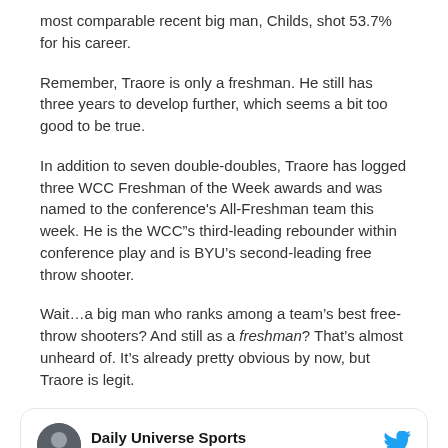most comparable recent big man, Childs, shot 53.7% for his career.
Remember, Traore is only a freshman. He still has three years to develop further, which seems a bit too good to be true.
In addition to seven double-doubles, Traore has logged three WCC Freshman of the Week awards and was named to the conference's All-Freshman team this week. He is the WCC”s third-leading rebounder within conference play and is BYU’s second-leading free throw shooter.
Wait…a big man who ranks among a team’s best free-throw shooters? And still as a freshman? That’s almost unheard of. It’s already pretty obvious by now, but Traore is legit.
[Figure (screenshot): Embedded tweet from @DailyUnivSports (Daily Universe Sports) with text: Gideon to Fouss for the SLAM (with a casualty on the play)]